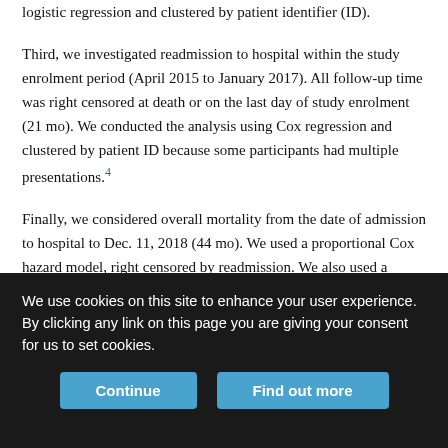logistic regression and clustered by patient identifier (ID).
Third, we investigated readmission to hospital within the study enrolment period (April 2015 to January 2017). All follow-up time was right censored at death or on the last day of study enrolment (21 mo). We conducted the analysis using Cox regression and clustered by patient ID because some participants had multiple presentations.4
Finally, we considered overall mortality from the date of admission to hospital to Dec. 11, 2018 (44 mo). We used a proportional Cox hazard model, right censored by readmission. We also used a sensitivity analysis to investigate mortality using index admission to Dec. 11, 2018. To account for competing risks, we analyzed a composite outcome of death or readmission to hospital, right
We use cookies on this site to enhance your user experience. By clicking any link on this page you are giving your consent for us to set cookies.